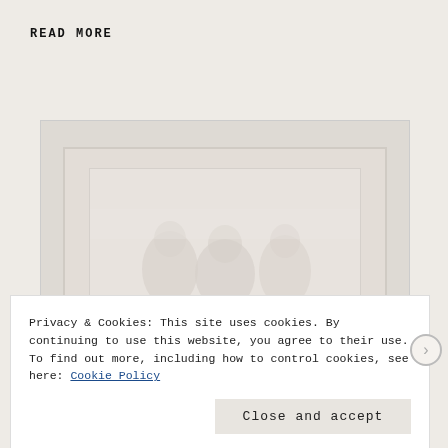READ MORE
[Figure (photo): A faded/washed-out photo showing indistinct silhouettes of people, displayed behind a cookie consent banner overlay. The photo has nested frame borders and a very light, desaturated appearance.]
Privacy & Cookies: This site uses cookies. By continuing to use this website, you agree to their use.
To find out more, including how to control cookies, see here: Cookie Policy
Close and accept